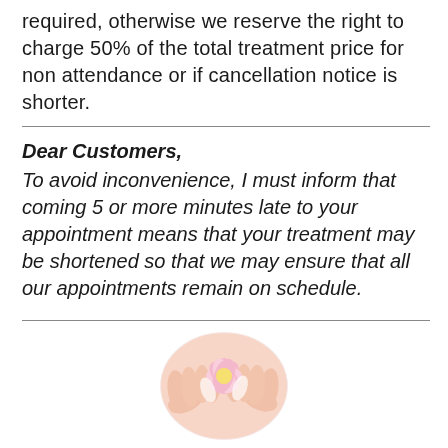required, otherwise we reserve the right to charge 50% of the total treatment price for non attendance or if cancellation notice is shorter.
Dear Customers, To avoid inconvenience, I must inform that coming 5 or more minutes late to your appointment means that your treatment may be shortened so that we may ensure that all our appointments remain on schedule.
[Figure (photo): Circular photo of hands holding pink flowers (spa/beauty treatment imagery)]